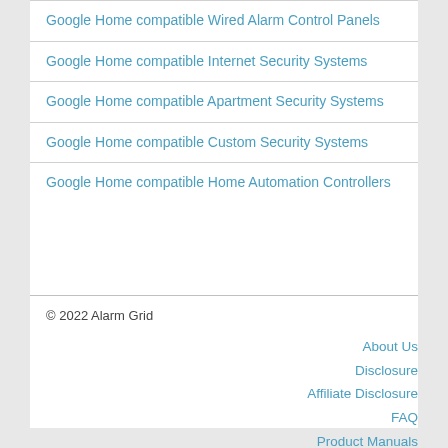Google Home compatible Wired Alarm Control Panels
Google Home compatible Internet Security Systems
Google Home compatible Apartment Security Systems
Google Home compatible Custom Security Systems
Google Home compatible Home Automation Controllers
© 2022 Alarm Grid
About Us
Disclosure
Affiliate Disclosure
FAQ
Product Manuals
Videos